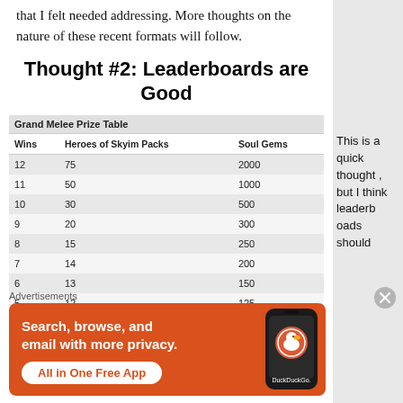that I felt needed addressing. More thoughts on the nature of these recent formats will follow.
Thought #2: Leaderboards are Good
| Wins | Heroes of Skyim Packs | Soul Gems |
| --- | --- | --- |
| 12 | 75 | 2000 |
| 11 | 50 | 1000 |
| 10 | 30 | 500 |
| 9 | 20 | 300 |
| 8 | 15 | 250 |
| 7 | 14 | 200 |
| 6 | 13 | 150 |
| 5 | 12 | 125 |
This is a quick thought , but I think leaderboards should
Advertisements
[Figure (other): DuckDuckGo advertisement banner: Search, browse, and email with more privacy. All in One Free App.]